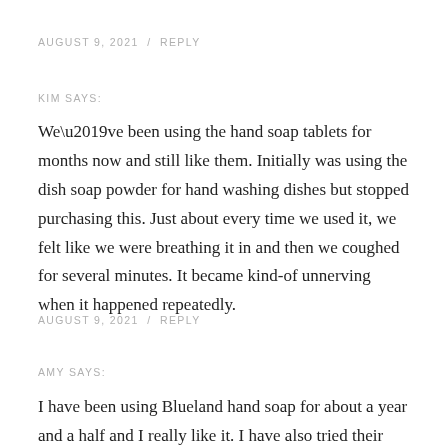AUGUST 9, 2021  /  REPLY
KIM SAYS:
We’ve been using the hand soap tablets for months now and still like them. Initially was using the dish soap powder for hand washing dishes but stopped purchasing this. Just about every time we used it, we felt like we were breathing it in and then we coughed for several minutes. It became kind-of unnerving when it happened repeatedly.
AUGUST 9, 2021  /  REPLY
AMY SAYS:
I have been using Blueland hand soap for about a year and a half and I really like it. I have also tried their dishwasher and